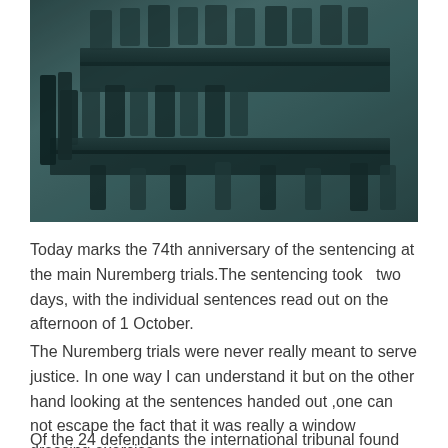[Figure (photo): Black and white photograph with teal tint showing the Nuremberg trials courtroom, with defendants seated at desks and military guards standing]
Today marks the 74th anniversary of the sentencing at the main Nuremberg trials.The sentencing took  two days, with the individual sentences read out on the afternoon of 1 October.
The Nuremberg trials were never really meant to serve justice. In one way I can understand it but on the other hand looking at the sentences handed out ,one can not escape the fact that it was really a window dressing exercise.
Of the 24 defendants the international tribunal found all